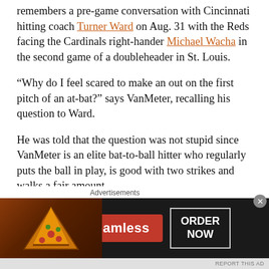remembers a pre-game conversation with Cincinnati hitting coach Turner Ward on Aug. 31 with the Reds facing the Cardinals right-hander Michael Wacha in the second game of a doubleheader in St. Louis.
“Why do I feel scared to make an out on the first pitch of an at-bat?” says VanMeter, recalling his question to Ward.
He was told that the question was not stupid since VanMeter is an elite bat-to-ball hitter who regularly puts the ball in play, is good with two strikes and walks a fair amount.
“Sometimes you just have to choose your spot,” says VanMeter. “(I decided) I’m going to look for a fastball up in the zone (against Wacha) and I’m just going to swing. Sure enough,
Advertisements
[Figure (other): Seamless food delivery advertisement banner with pizza image on left, Seamless red logo button in center, and ORDER NOW button on right, on dark background.]